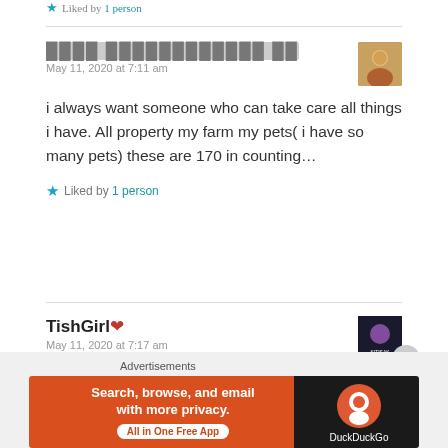Liked by 1 person
████ ████████████ ██
May 11, 2020 at 7:11 am
i always want someone who can take care all things i have. All property my farm my pets( i have so many pets) these are 170 in counting…
Liked by 1 person
TishGirl❤
May 11, 2020 at 7:17 am
Advertisements
[Figure (infographic): DuckDuckGo advertisement banner: Search, browse, and email with more privacy. All in One Free App]